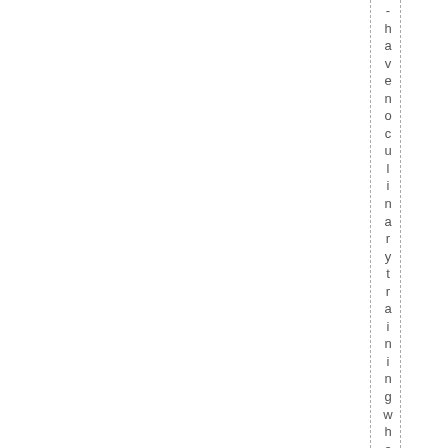- have no culinary training whatsoever